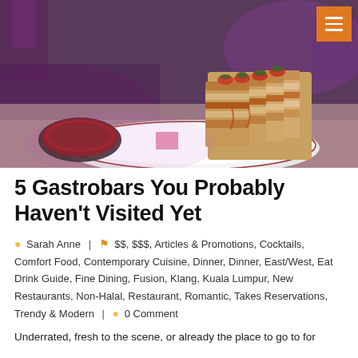[Figure (photo): A restaurant dish photo showing club sandwiches stacked on a white plate with a small bowl of sauce, set against a purple-lit dining room background]
5 Gastrobars You Probably Haven't Visited Yet
Sarah Anne | $$, $$$, Articles & Promotions, Cocktails, Comfort Food, Contemporary Cuisine, Dinner, Dinner, East/West, Eat Drink Guide, Fine Dining, Fusion, Klang, Kuala Lumpur, New Restaurants, Non-Halal, Restaurant, Romantic, Takes Reservations, Trendy & Modern | 0 Comment
Underrated, fresh to the scene, or already the place to go to for